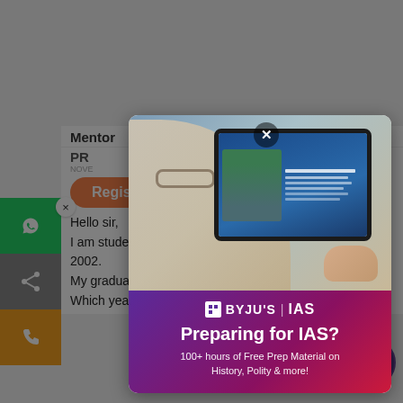[Figure (screenshot): Screenshot of an educational website (likely Byjus IAS prep) with a modal popup showing a person studying on a tablet, BYJU'S IAS branding, and text 'Preparing for IAS? 100+ hours of Free Prep Material on History, Polity & more!']
Mentor
NOVEMBER 2, 2020 AT 11:46 AM
PR
NOVE
Regist
Hi there! Got any questions? I can help you...
Hello sir,
I am student of first year. And my date of birth is 7th oct. 2002.
My graduation will be completed in may 2023.
Which year I can give exam of UPSC?